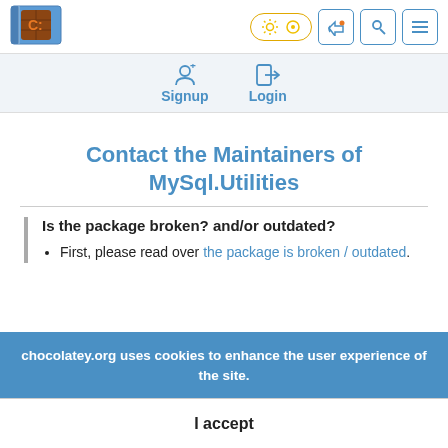[Figure (logo): Chocolatey logo — brown chocolate stamp with orange C: text on blue ticket background]
Signup  Login
Contact the Maintainers of MySql.Utilities
Is the package broken? and/or outdated?
First, please read over the package is broken / outdated.
chocolatey.org uses cookies to enhance the user experience of the site.
I accept